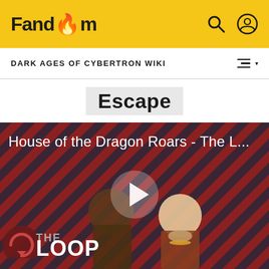Fandom
DARK AGES OF CYBERTRON WIKI
Escape
[Figure (screenshot): Video thumbnail for 'House of the Dragon Roars - The L...' with a play button overlay, showing two characters from House of the Dragon against a red diagonal stripe background. The Loop logo appears at the bottom left.]